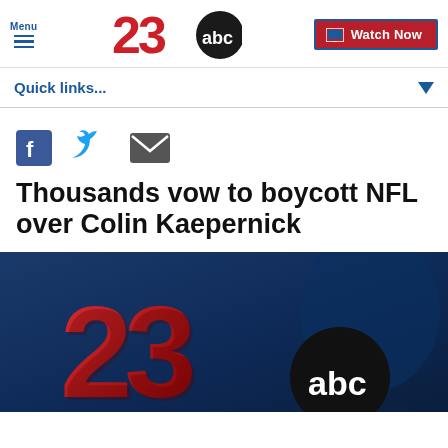Menu | 23 ABC | Watch Now
Quick links...
[Figure (other): Social sharing icons: Facebook, Twitter, Email]
Thousands vow to boycott NFL over Colin Kaepernick
[Figure (photo): 23 ABC news logo on dark blue background with news desk]